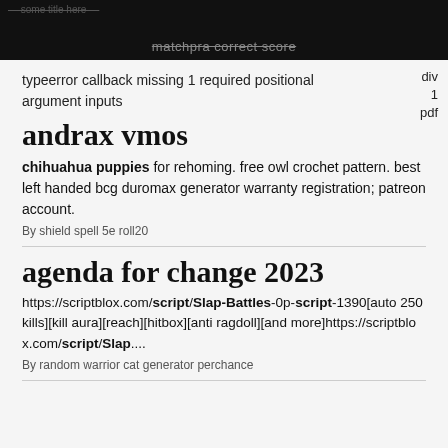matchpra correct score
typeerror callback missing 1 required positional argument inputs
andrax vmos
chihuahua puppies for rehoming. free owl crochet pattern. best left handed bcg duromax generator warranty registration; patreon account.
By shield spell 5e roll20
agenda for change 2023
https://scriptblox.com/script/Slap-Battles-0p-script-1390[auto 250 kills][kill aura][reach][hitbox][anti ragdoll][and more]https://scriptblox.com/script/Slap....
By random warrior cat generator perchance